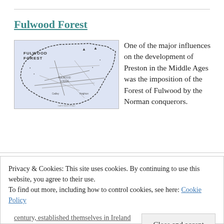Fulwood Forest
[Figure (map): A map of Fulwood Forest showing dotted boundary lines, internal road/path networks, labeled areas including 'FULWOOD FOREST' and 'FULWOOD LODGE', with various place names and routes marked.]
One of the major influences on the development of Preston in the Middle Ages was the imposition of the Forest of Fulwood by the Norman conquerors.
Privacy & Cookies: This site uses cookies. By continuing to use this website, you agree to their use.
To find out more, including how to control cookies, see here: Cookie Policy
century, established themselves in Ireland along the after above joining the Norman ...